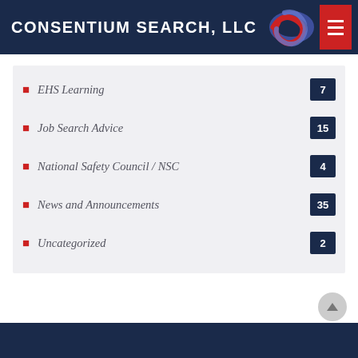CONSENTIUM SEARCH, LLC
EHS Learning 7
Job Search Advice 15
National Safety Council / NSC 4
News and Announcements 35
Uncategorized 2